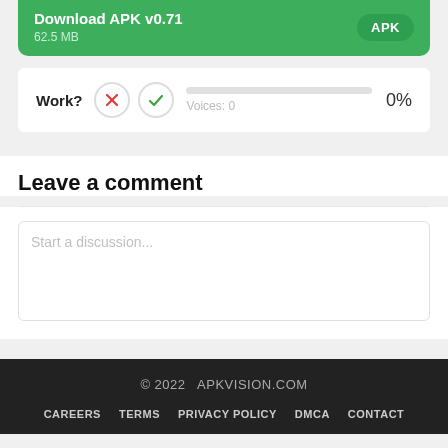Download APK v0.71
62.5 MB
Work? Voices: 0  0%
Leave a comment
Start a discussion...
© 2022  APKVISION.COM
CAREERS  TERMS  PRIVACY POLICY  DMCA  CONTACT